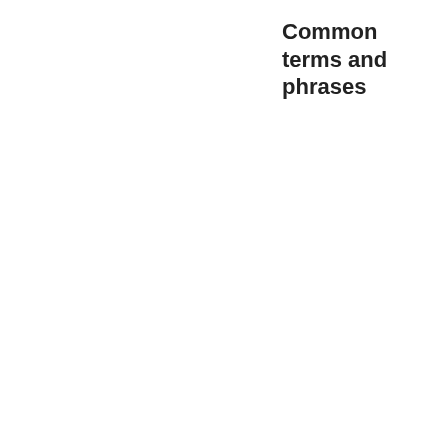Common terms and phrases
[Figure (infographic): Word cloud of common religious/hymn terms in blue, with font size indicating frequency. Terms include: adore, angels, appear, arms, bear, believe, bless, blest, blood, breast, breath, bright, bring, Christ, darkness, death, divine, dying, earth, endless, eternal, everlasting, eyes, face, faith, Father, fear, feel, feet, forever, Friend, give, given, glorious, glory, grace, gracious, hand, happy, hast, hath, head, hear, heart, heaven, heavenly, holy, hope]